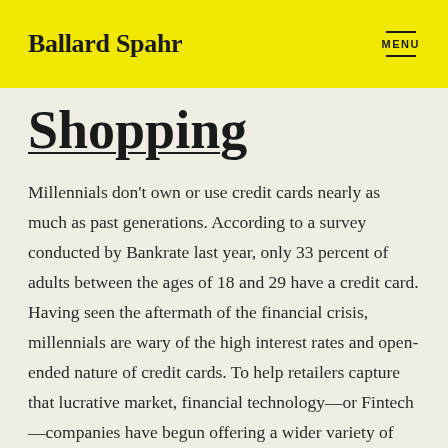Ballard Spahr  MENU
Shopping
Millennials don't own or use credit cards nearly as much as past generations. According to a survey conducted by Bankrate last year, only 33 percent of adults between the ages of 18 and 29 have a credit card. Having seen the aftermath of the financial crisis, millennials are wary of the high interest rates and open-ended nature of credit cards. To help retailers capture that lucrative market, financial technology—or Fintech—companies have begun offering a wider variety of online payment options that divide purchases